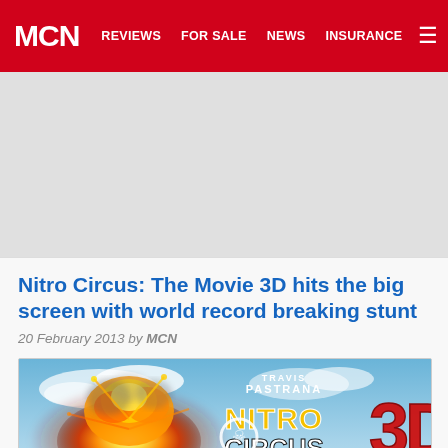MCN | REVIEWS | FOR SALE | NEWS | INSURANCE
Nitro Circus: The Movie 3D hits the big screen with world record breaking stunt
20 February 2013 by MCN
[Figure (photo): Nitro Circus: The Movie 3D promotional image showing an explosion with the Travis Pastrana Nitro Circus 3D The Movie logo in the top right corner against a blue sky background]